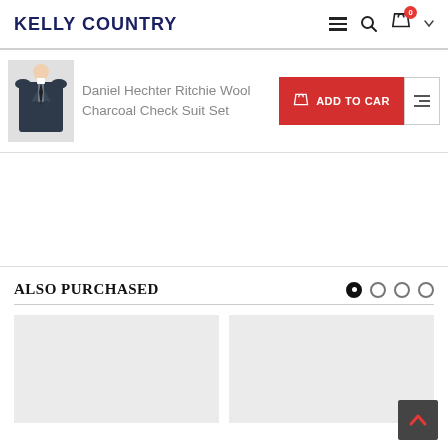KELLY COUNTRY
[Figure (screenshot): Product image of a dark charcoal suit jacket]
Daniel Hechter Ritchie Wool Charcoal Check Suit Set
ALSO PURCHASED
[Figure (photo): Two product placeholder image cards in light gray]
[Figure (other): Back to top arrow button in dark background with red upward chevron]